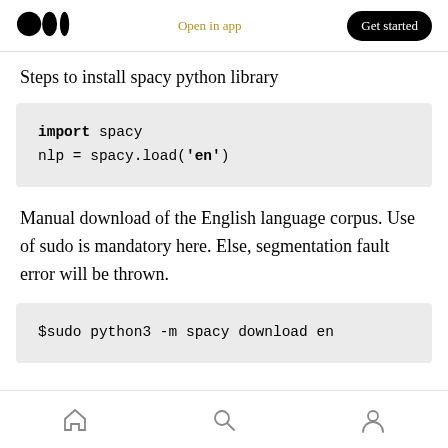Open in app  Get started
Steps to install spacy python library
[Figure (screenshot): Code block showing: import spacy / nlp = spacy.load('en')]
Manual download of the English language corpus. Use of sudo is mandatory here. Else, segmentation fault error will be thrown.
[Figure (screenshot): Code block showing: $sudo python3 -m spacy download en]
Home | Search | Profile navigation icons